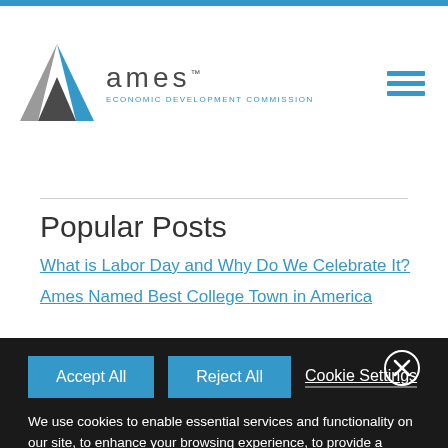[Figure (logo): Ames Economic Development Commission logo with triangular A mark in grey and blue, with text 'ames ECONOMIC DEVELOPMENT COMMISSION']
Popular Posts
What is Labor Day and Why Do We Celebrate It?
Ames Named Best College Town in America
Accept All
Reject All
Cookie Settings
We use cookies to enable essential services and functionality on our site, to enhance your browsing experience, to provide a better service through personalized content, and to collect data on how visitors interact with our site. To accept the use of all cookies, click "Accept all". To reject the use of all cookies, click "Reject all". You can customize your cookie preferences by clicking "Cookie Settings". For more information about our use of cookies and to opt-out of cookies at any time, please refer to our website Privacy Policy.